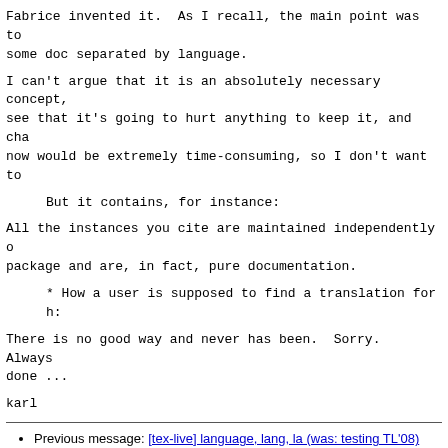Fabrice invented it.  As I recall, the main point was to
some doc separated by language.
I can't argue that it is an absolutely necessary concept,
see that it's going to hurt anything to keep it, and cha
now would be extremely time-consuming, so I don't want to
But it contains, for instance:
All the instances you cite are maintained independently o
package and are, in fact, pure documentation.
* How a user is supposed to find a translation for h:
There is no good way and never has been.  Sorry.  Always
done ...
karl
Previous message: [tex-live] language, lang, la (was: testing TL'08)
Next message: [tex-live] language, lang, la (was: testing TL'08)
Messages sorted by: [ date ] [ thread ] [ subject ] [ author ]
More information about the tex-live mailing list